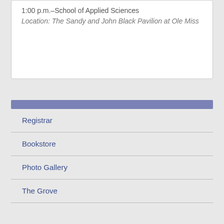1:00 p.m.–School of Applied Sciences
Location: The Sandy and John Black Pavilion at Ole Miss
Registrar
Bookstore
Photo Gallery
The Grove